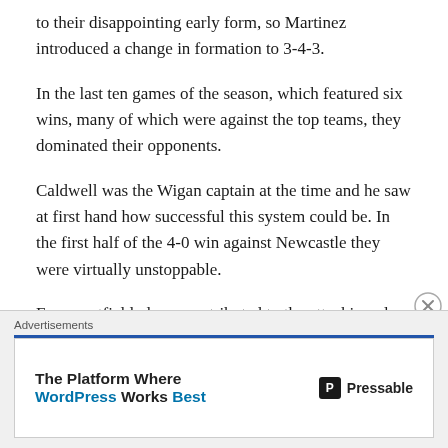to their disappointing early form, so Martinez introduced a change in formation to 3-4-3.
In the last ten games of the season, which featured six wins, many of which were against the top teams, they dominated their opponents.
Caldwell was the Wigan captain at the time and he saw at first hand how successful this system could be. In the first half of the 4-0 win against Newcastle they were virtually unstoppable.
Every outfield player contributed to the attacking play while the Latics back three of Alcaraz, Caldwell and
Advertisements
The Platform Where WordPress Works Best — Pressable